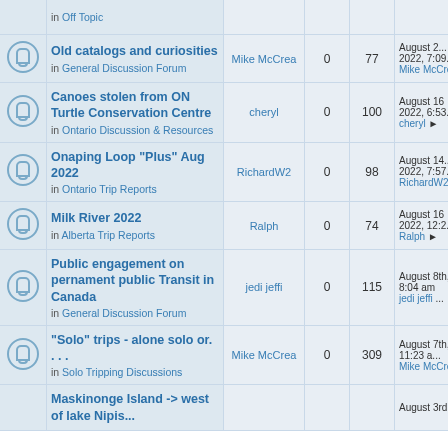|  | Topic | Author | Replies | Views | Last Post |
| --- | --- | --- | --- | --- | --- |
| (icon) | Old catalogs and curiosities
in General Discussion Forum | Mike McCrea | 0 | 77 | August 2...
2022, 7:09...
Mike McCre... |
| (icon) | Canoes stolen from ON Turtle Conservation Centre
in Ontario Discussion & Resources | cheryl | 0 | 100 | August 16
2022, 6:53...
cheryl → |
| (icon) | Onaping Loop "Plus" Aug 2022
in Ontario Trip Reports | RichardW2 | 0 | 98 | August 14
2022, 7:57...
RichardW2... |
| (icon) | Milk River 2022
in Alberta Trip Reports | Ralph | 0 | 74 | August 16
2022, 12:2...
Ralph → |
| (icon) | Public engagement on pernament public Transit in Canada
in General Discussion Forum | jedi jeffi | 0 | 115 | August 8th,
8:04 am
jedi jeffi ... |
| (icon) | "Solo" trips - alone solo or. . . .
in Solo Tripping Discussions | Mike McCrea | 0 | 309 | August 7th,
11:23 a...
Mike McCre... |
| (icon) | Maskinonge Island -> west of ... |  |  |  | August 3rd... |